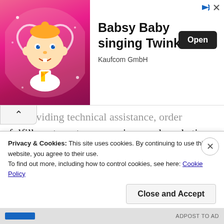[Figure (screenshot): Advertisement banner for 'Babsy Baby singing Twinkle' app by Kaufcom GmbH, showing a cartoon baby character on a pink background, with an 'Open' button.]
ae providing technical assistance, order fulfillment, customer services, and marketing assistance. These other companies will have access to your data only as necessary to perform their functions and to the extent permitted by law.
Additionally, we may disclose your information to certain third parties (as listed on our website) for the
Privacy & Cookies: This site uses cookies. By continuing to use this website, you agree to their use.
To find out more, including how to control cookies, see here: Cookie Policy
Close and Accept